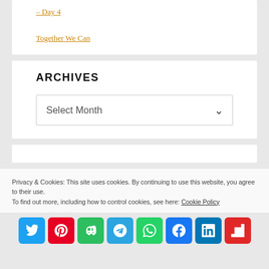– Day 4
Together We Can
ARCHIVES
Select Month
Privacy & Cookies: This site uses cookies. By continuing to use this website, you agree to their use.
To find out more, including how to control cookies, see here: Cookie Policy